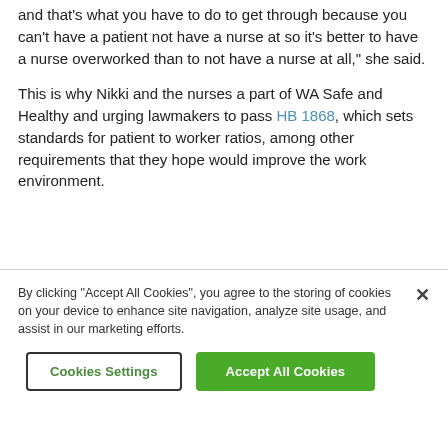and that's what you have to do to get through because you can't have a patient not have a nurse at so it's better to have a nurse overworked than to not have a nurse at all," she said.
This is why Nikki and the nurses a part of WA Safe and Healthy and urging lawmakers to pass HB 1868, which sets standards for patient to worker ratios, among other requirements that they hope would improve the work environment.
By clicking "Accept All Cookies", you agree to the storing of cookies on your device to enhance site navigation, analyze site usage, and assist in our marketing efforts.
Cookies Settings
Accept All Cookies